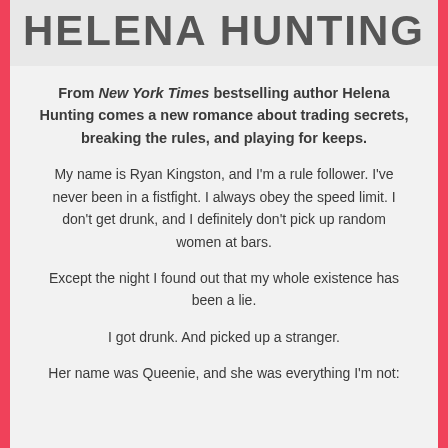HELENA HUNTING
From New York Times bestselling author Helena Hunting comes a new romance about trading secrets, breaking the rules, and playing for keeps.
My name is Ryan Kingston, and I'm a rule follower. I've never been in a fistfight. I always obey the speed limit. I don't get drunk, and I definitely don't pick up random women at bars.
Except the night I found out that my whole existence has been a lie.
I got drunk. And picked up a stranger.
Her name was Queenie, and she was everything I'm not: